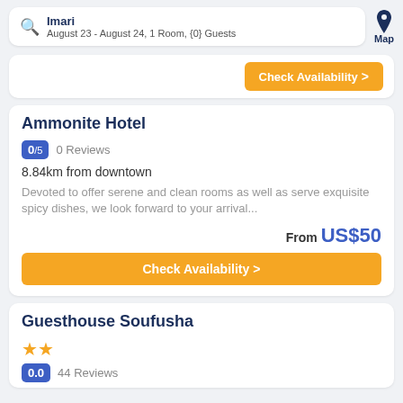Imari — August 23 - August 24, 1 Room, {0} Guests
Check Availability
Ammonite Hotel
0/5  0 Reviews
8.84km from downtown
Devoted to offer serene and clean rooms as well as serve exquisite spicy dishes, we look forward to your arrival...
From US$50
Check Availability
Guesthouse Soufusha
★★
0.0  44 Reviews